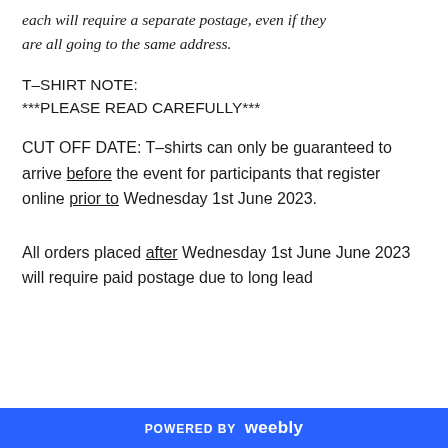each will require a separate postage, even if they are all going to the same address.
T–SHIRT NOTE:
***PLEASE READ CAREFULLY***
CUT OFF DATE: T–shirts can only be guaranteed to arrive before the event for participants that register online prior to Wednesday 1st June 2023.
All orders placed after Wednesday 1st June June 2023 will require paid postage due to long lead
POWERED BY weebly